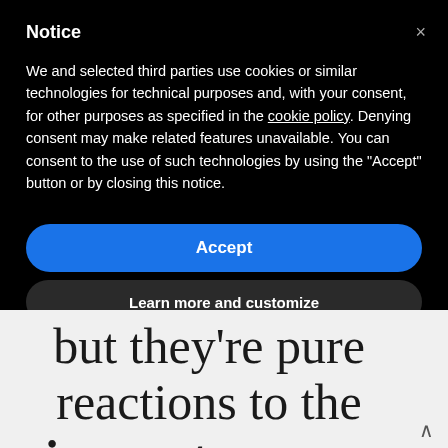Notice
We and selected third parties use cookies or similar technologies for technical purposes and, with your consent, for other purposes as specified in the cookie policy. Denying consent may make related features unavailable. You can consent to the use of such technologies by using the "Accept" button or by closing this notice.
Accept
Learn more and customize
but they're pure reactions to the circumstances we find